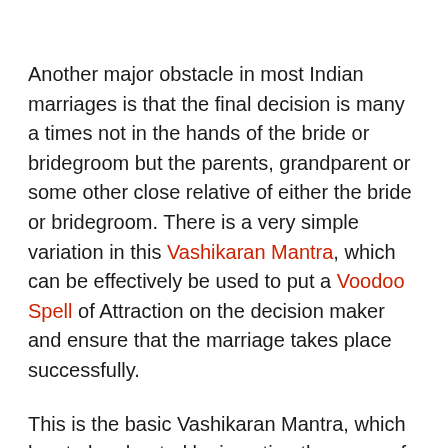Another major obstacle in most Indian marriages is that the final decision is many a times not in the hands of the bride or bridegroom but the parents, grandparent or some other close relative of either the bride or bridegroom. There is a very simple variation in this Vashikaran Mantra, which can be effectively be used to put a Voodoo Spell of Attraction on the decision maker and ensure that the marriage takes place successfully.
This is the basic Vashikaran Mantra, which has to be chanted by inserting the name of the desired bride or bridegroom in place of the word [Name]. This